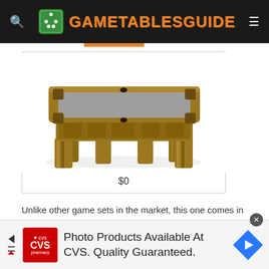GAMETABLESGUIDE
[Figure (photo): Brown wooden billiard/pool table with grey felt top, ornate carved legs and corner pockets, product photo on white background. Price label: $0]
$0
Unlike other game sets in the market, this one comes in three sizes: a small measuring 11", a medium measuring 14" and a large measuring 18".
[Figure (infographic): CVS Pharmacy advertisement banner: 'Photo Products Available At CVS. Quality Guaranteed.' with CVS pharmacy logo and navigation arrow icon]